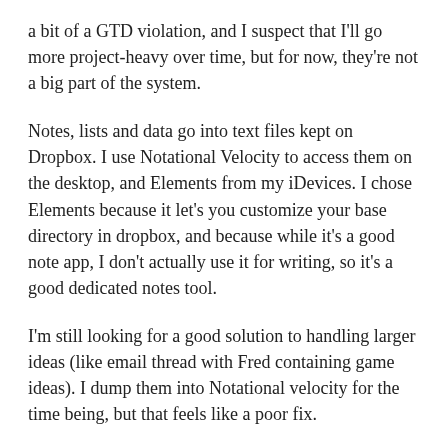a bit of a GTD violation, and I suspect that I'll go more project-heavy over time, but for now, they're not a big part of the system.
Notes, lists and data go into text files kept on Dropbox. I use Notational Velocity to access them on the desktop, and Elements from my iDevices. I chose Elements because it let's you customize your base directory in dropbox, and because while it's a good note app, I don't actually use it for writing, so it's a good dedicated notes tool.
I'm still looking for a good solution to handling larger ideas (like email thread with Fred containing game ideas). I dump them into Notational velocity for the time being, but that feels like a poor fix.
I do most of my straight writing on the iPad (usually in writeroom) synced to dropbox, then i just open it in the appropriate app for post-processing. Simple enough